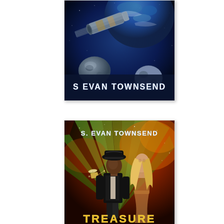[Figure (illustration): Book cover with space scene: satellite/telescope in space near Earth and asteroids, dark blue background. Author name 'S EVAN TOWNSEND' displayed at bottom in white futuristic font.]
[Figure (illustration): Book cover titled 'TREASURE' with author name 'S. EVAN TOWNSEND' at top. Features a man in a fedora hat and vest and a blonde woman against a colorful space/wormhole background of green and orange. Gold text 'TREASURE' visible at bottom.]